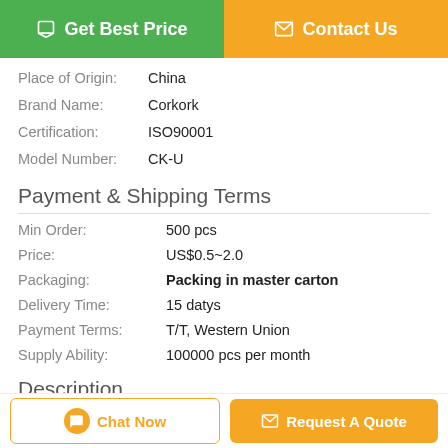Get Best Price
Contact Us
Place of Origin: China
Brand Name: Corkork
Certification: ISO90001
Model Number: CK-U
Payment & Shipping Terms
Min Order: 500 pcs
Price: US$0.5~2.0
Packaging: Packing in master carton
Delivery Time: 15 datys
Payment Terms: T/T, Western Union
Supply Ability: 100000 pcs per month
Description
Chat Now
Request A Quote